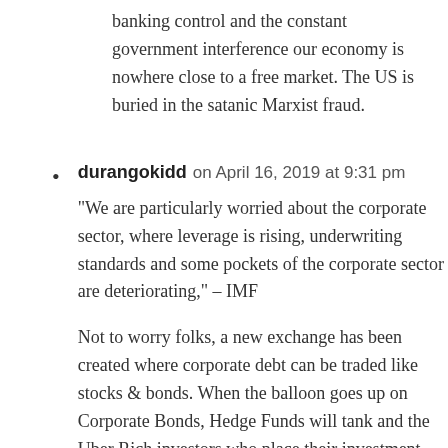banking control and the constant government interference our economy is nowhere close to a free market. The US is buried in the satanic Marxist fraud.
durangokidd on April 16, 2019 at 9:31 pm
“We are particularly worried about the corporate sector, where leverage is rising, underwriting standards and some pockets of the corporate sector are deteriorating,” – IMF
Not to worry folks, a new exchange has been created where corporate debt can be traded like stocks & bonds. When the balloon goes up on Corporate Bonds, Hedge Funds will tank and the Uber Rich investors who place their investment dollars with them will be as broke as everyone else.
Only those institutions and individuals without